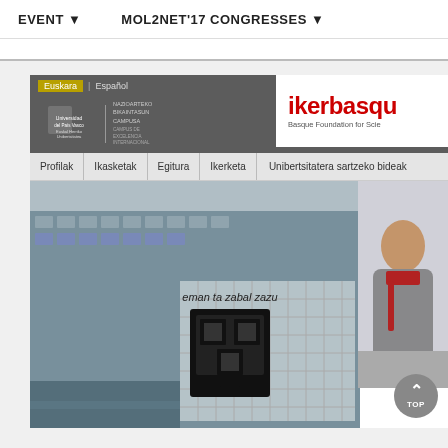EVENT ▼    MOL2NET'17 CONGRESSES ▼
[Figure (screenshot): Screenshot of the University of the Basque Country (UPV/EHU) website showing the university header with language options (Euskara | Español), Arabako Campus link, university logo, Naziоarteko Bikaintasun Campusa badge, ikerbasque logo (Basque Foundation for Science), navigation menu (Profilak | Ikasketak | Egitura | Ikerketa | Unibertsitatera sartzeko bideak), and a main banner photo of a university building with 'eman ta zabal zazu' text and UPV/EHU logo, alongside a photo of a person.]
eman ta zabal zazu